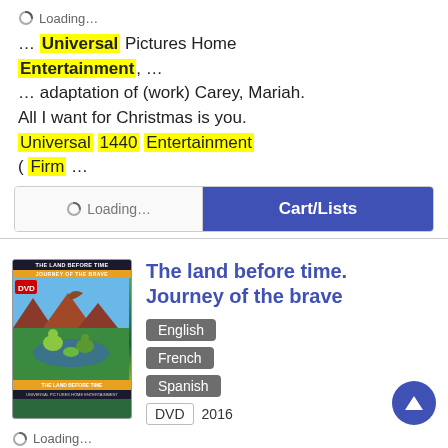Loading...
… Universal Pictures Home Entertainment, … … adaptation of (work) Carey, Mariah. All I want for Christmas is you. Universal 1440 Entertainment ( Firm …
Loading...  Cart/Lists
[Figure (photo): DVD cover of The Land Before Time: Journey of the Brave]
The land before time. Journey of the brave
English
French
Spanish
DVD  2016
Loading...